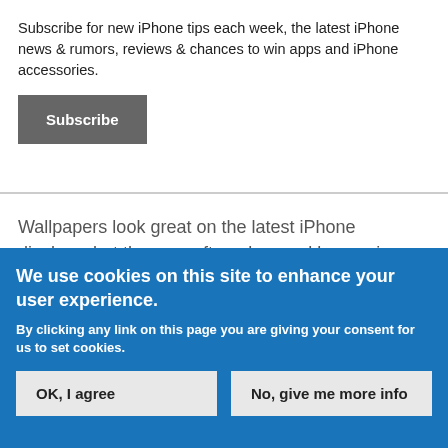Subscribe for new iPhone tips each week, the latest iPhone news & rumors, reviews & chances to win apps and iPhone accessories.
Subscribe
Wallpapers look great on the latest iPhone displays, but they are often obscured by app icons on the Home Screen. Home Screen pages can be easily hidden and reorganized. There is also an easy way to create a blank Home Screen to show off iOS wallpapers without any apps in
We use cookies on this site to enhance your user experience.
By clicking any link on this page you are giving your consent for us to set cookies.
OK, I agree
No, give me more info